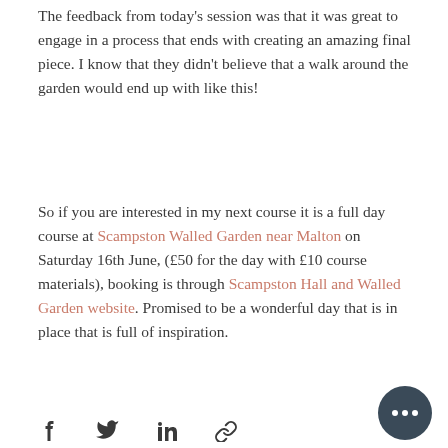The feedback from today's session was that it was great to engage in a process that ends with creating an amazing final piece. I know that they didn't believe that a walk around the garden would end up with like this!
So if you are interested in my next course it is a full day course at Scampston Walled Garden near Malton on Saturday 16th June, (£50 for the day with £10 course materials), booking is through Scampston Hall and Walled Garden website. Promised to be a wonderful day that is in place that is full of inspiration.
[Figure (other): Social sharing icons: Facebook, Twitter, LinkedIn, link/chain icon, and a dark circular more-options button with three dots]